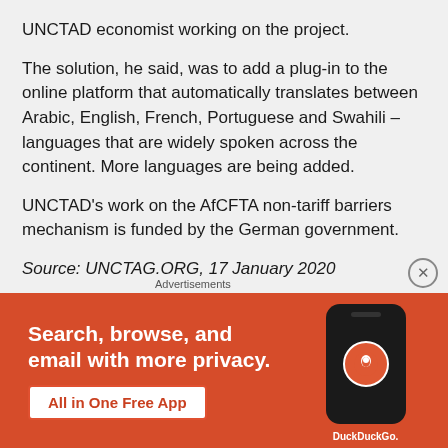UNCTAD economist working on the project.
The solution, he said, was to add a plug-in to the online platform that automatically translates between Arabic, English, French, Portuguese and Swahili – languages that are widely spoken across the continent. More languages are being added.
UNCTAD's work on the AfCFTA non-tariff barriers mechanism is funded by the German government.
Source: UNCTAG.ORG, 17 January 2020
[Figure (screenshot): DuckDuckGo advertisement banner: orange background with white text 'Search, browse, and email with more privacy.' and a white button 'All in One Free App', with a phone illustration and DuckDuckGo logo on the right.]